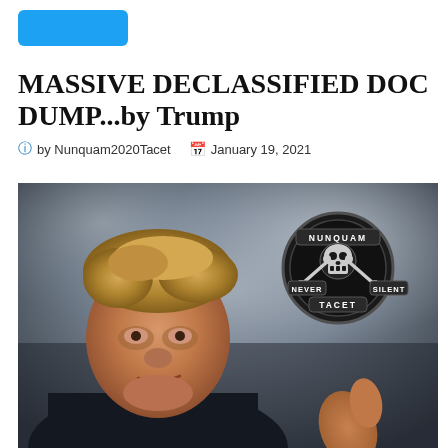[Figure (logo): Blue rounded rectangle button (Twitter/social media style)]
MASSIVE DECLASSIFIED DOC DUMP...by Trump
by Nunquam2020Tacet  January 19, 2021
[Figure (photo): Photo of Donald Trump giving thumbs up, with a dark cloudy background. In the upper right corner is a circular badge/logo with a skull and crossbones that reads NUNQUAM / NEVER SILENT / TACET]